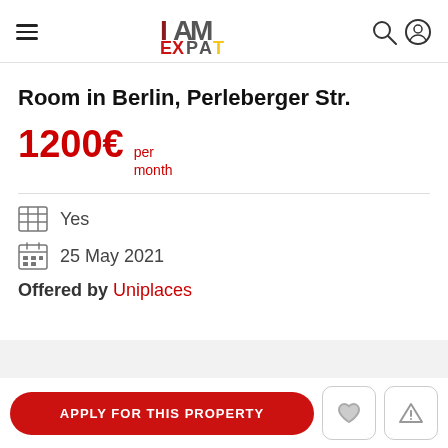I AM EXPAT (logo, hamburger menu, search and user icons)
Room in Berlin, Perleberger Str.
1200€ per month
Yes
25 May 2021
Offered by Uniplaces
APPLY FOR THIS PROPERTY